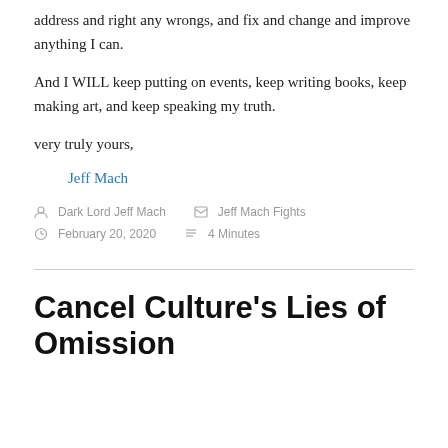address and right any wrongs, and fix and change and improve anything I can.
And I WILL keep putting on events, keep writing books, keep making art, and keep speaking my truth.
very truly yours,
Jeff Mach
Dark Lord Jeff Mach   Jeff Mach Fights   February 20, 2020   4 Minutes
Cancel Culture's Lies of Omission